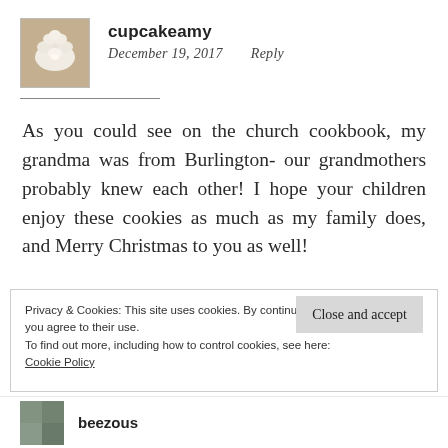[Figure (photo): Avatar image of cupcakeamy showing white ruffled cupcake frosting]
cupcakeamy
December 19, 2017   Reply
As you could see on the church cookbook, my grandma was from Burlington- our grandmothers probably knew each other! I hope your children enjoy these cookies as much as my family does, and Merry Christmas to you as well!
Privacy & Cookies: This site uses cookies. By continuing to use this website, you agree to their use.
To find out more, including how to control cookies, see here:
Cookie Policy
Close and accept
[Figure (photo): Partial avatar image at bottom of page for user beezous]
beezous